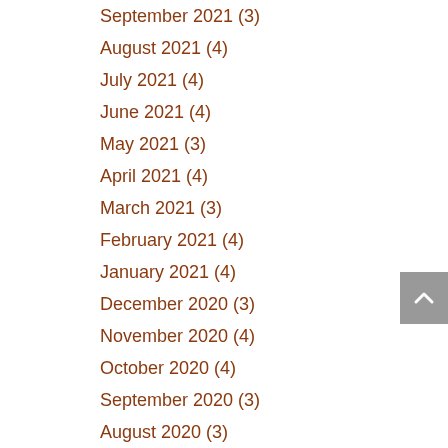September 2021 (3)
August 2021 (4)
July 2021 (4)
June 2021 (4)
May 2021 (3)
April 2021 (4)
March 2021 (3)
February 2021 (4)
January 2021 (4)
December 2020 (3)
November 2020 (4)
October 2020 (4)
September 2020 (3)
August 2020 (3)
July 2020 (5)
June 2020 (10)